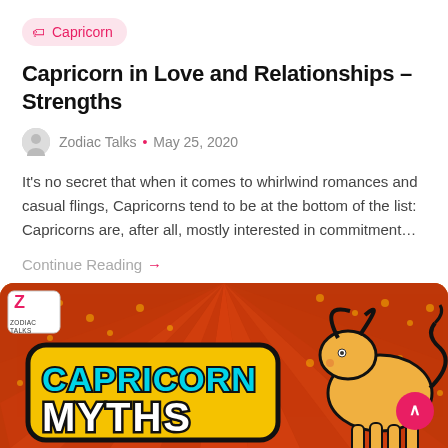Capricorn
Capricorn in Love and Relationships – Strengths
Zodiac Talks • May 25, 2020
It's no secret that when it comes to whirlwind romances and casual flings, Capricorns tend to be at the bottom of the list: Capricorns are, after all, mostly interested in commitment…
Continue Reading →
[Figure (illustration): Colorful comic-style illustration with text 'CAPRICORN MYTHS' in cyan and white letters on a yellow and red dotted background, with a cartoon goat/sea-goat animal on the right side and a Zodiac Talks logo badge in the upper left corner.]